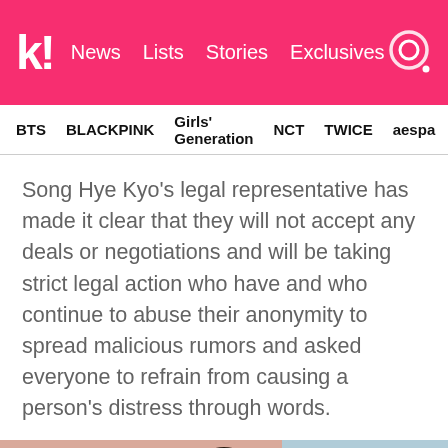k! News  Lists  Stories  Exclusives
BTS  BLACKPINK  Girls' Generation  NCT  TWICE  aespa
Song Hye Kyo's legal representative has made it clear that they will not accept any deals or negotiations and will be taking strict legal action who have and who continue to abuse their anonymity to spread malicious rumors and asked everyone to refrain from causing a person's distress through words.
[Figure (photo): Photo of a person with dark hair against a two-tone background (pink/salmon and light blue)]